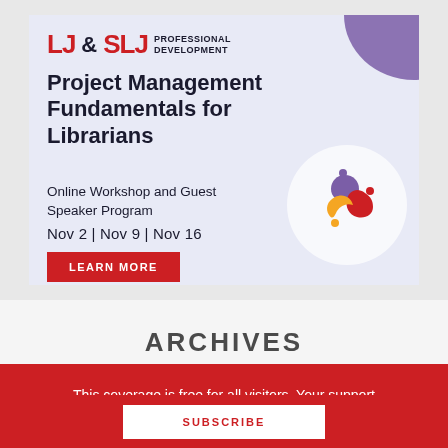[Figure (infographic): LJ&SLJ Professional Development advertisement for Project Management Fundamentals for Librarians online workshop. Features logo, title, dates (Nov 2, Nov 9, Nov 16), Learn More button, and SLJ swirl logo on white circle with purple blob decoration.]
ARCHIVES
This coverage is free for all visitors. Your support makes this possible.
SUBSCRIBE